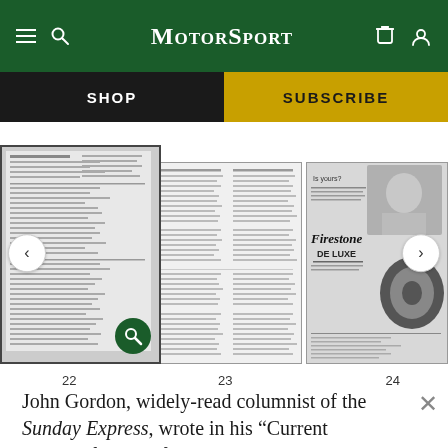Motor Sport — navigation header with SHOP and SUBSCRIBE
[Figure (screenshot): Carousel of three Motor Sport magazine page thumbnails: pages 22, 23, and 24. Page 22 shows a dense text/table layout with a green search icon overlay. Page 23 shows a text article layout. Page 24 shows a Firestone De Luxe tyre advertisement with 'Is yours?' headline.]
22    23    24
John Gordon, widely-read columnist of the Sunday Express, wrote in his “Current Events” feature of September 2nd that 120 m.p.h. on the Mt may not be illegal but by any standard is extremely dangerous. This is a sweeping statement to print and a curiously old-fashioned